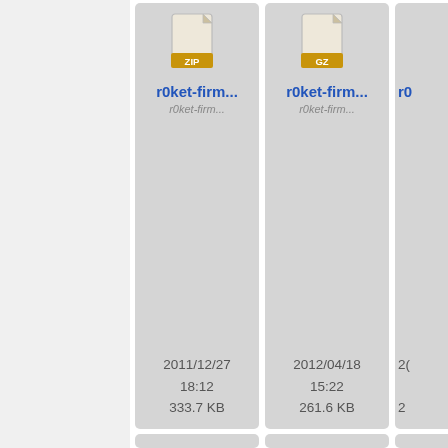[Figure (screenshot): File browser grid view showing file thumbnails with icons, names, and metadata. Left panel is white/light gray. Grid shows files: r0ket-firm... (ZIP, 2011/12/27 18:12, 333.7 KB), r0ket-firm... (GZ, 2012/04/18 15:22, 261.6 KB), partially visible third column top row, r0ket-hac... image (712x564, 2011/06/20 20:56, 6.3 KB), r0ket-m0... image (1342x560, 2011/06/20 20:56, 12.9 KB), partially visible third column middle row, two partially visible bottom row cells.]